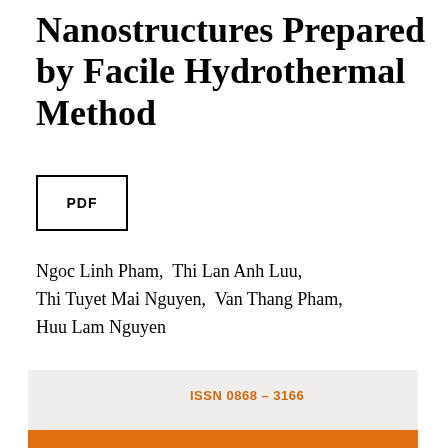Nanostructures Prepared by Facile Hydrothermal Method
[Figure (other): PDF button/icon box with label PDF]
Ngoc Linh Pham,  Thi Lan Anh Luu,  Thi Tuyet Mai Nguyen,  Van Thang Pham,  Huu Lam Nguyen
More Info
[Figure (other): Journal footer banner with ISSN 0868 - 3166 text on grey background and orange bar at bottom]